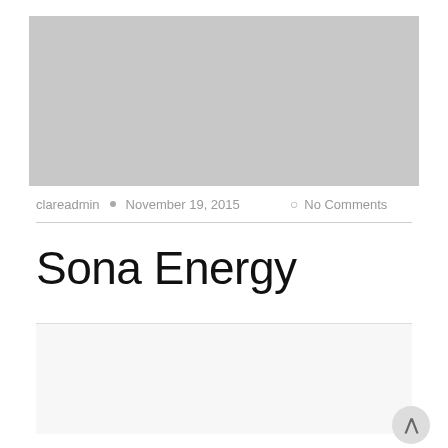[Figure (photo): Gray placeholder image at the top of the page]
clareadmin • November 19, 2015 ○ No Comments
Sona Energy
[Figure (other): Light gray content area at the bottom with a scroll-to-top button in the lower right corner]